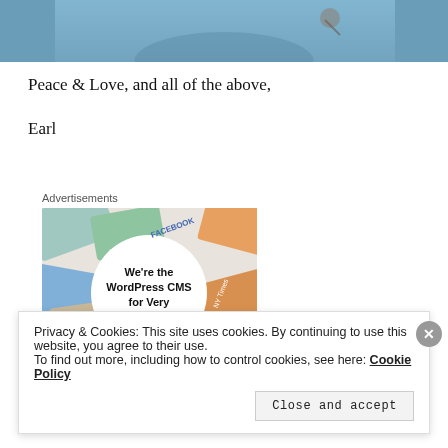[Figure (photo): Partial photo of a person in blue medical scrubs with a stethoscope, cropped at top]
Peace & Love, and all of the above,
Earl
Advertisements
[Figure (screenshot): Advertisement image showing overlapping colorful cards with logos (Meta, Facebook) and a central message: We're the WordPress CMS for Very Important Content]
Privacy & Cookies: This site uses cookies. By continuing to use this website, you agree to their use.
To find out more, including how to control cookies, see here: Cookie Policy
Close and accept